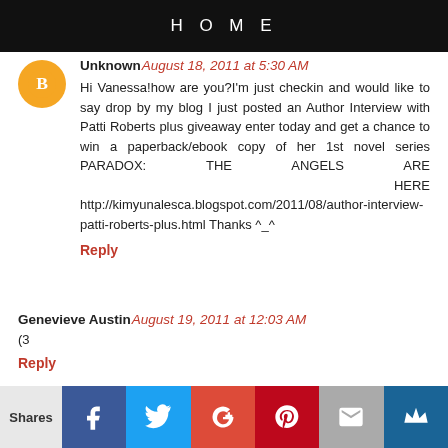HOME
Unknown August 18, 2011 at 5:30 AM
Hi Vanessa!how are you?I'm just checkin and would like to say drop by my blog I just posted an Author Interview with Patti Roberts plus giveaway enter today and get a chance to win a paperback/ebook copy of her 1st novel series PARADOX: THE ANGELS ARE HERE http://kimyunalesca.blogspot.com/2011/08/author-interview-patti-roberts-plus.html Thanks ^_^
Reply
Genevieve Austin August 19, 2011 at 12:03 AM
(3
Reply
Unknown February 22, 2022 at 8:25 AM